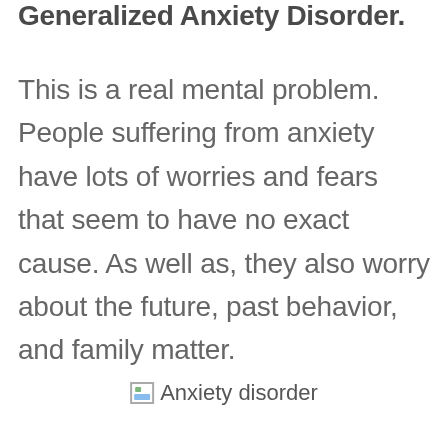Generalized Anxiety Disorder.
This is a real mental problem. People suffering from anxiety have lots of worries and fears that seem to have no exact cause. As well as, they also worry about the future, past behavior, and family matter.
[Figure (photo): Broken image placeholder labeled 'Anxiety disorder']